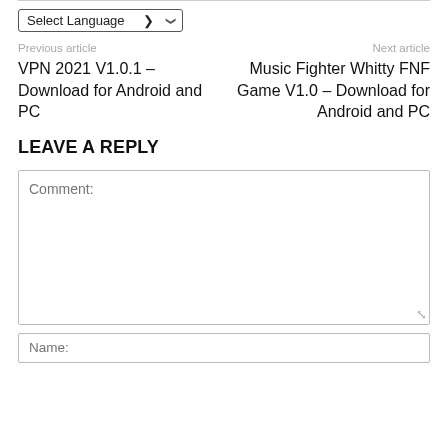Select Language
Previous article
Next article
VPN 2021 V1.0.1 – Download for Android and PC
Music Fighter Whitty FNF Game V1.0 – Download for Android and PC
LEAVE A REPLY
Comment:
Name: